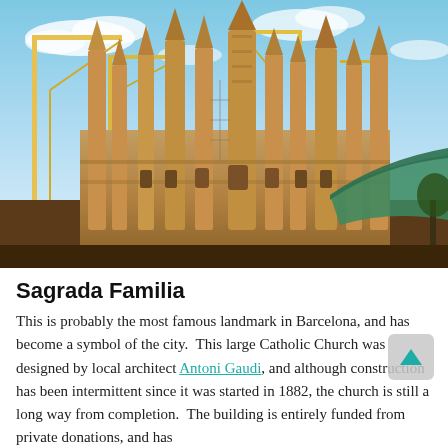[Figure (photo): Photograph of Sagrada Familia basilica in Barcelona under construction, showing tall ornate stone spires and cranes against a blue sky with scattered clouds.]
Sagrada Familia
This is probably the most famous landmark in Barcelona, and has become a symbol of the city. This large Catholic Church was designed by local architect Antoni Gaudi, and although construction has been intermittent since it was started in 1882, the church is still a long way from completion. The building is entirely funded from private donations, and has